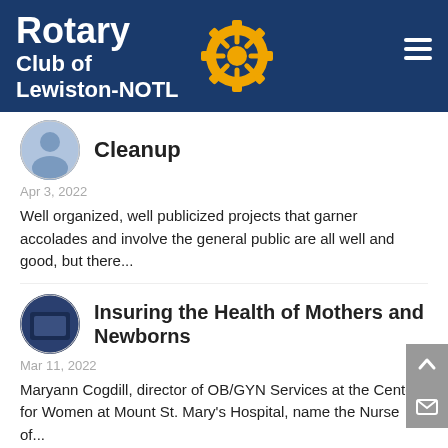Rotary Club of Lewiston-NOTL
Cleanup
Apr 3, 2022
Well organized, well publicized projects that garner accolades and involve the general public are all well and good, but there...
Insuring the Health of Mothers and Newborns
Mar 11, 2022
Maryann Cogdill, director of OB/GYN Services at the Center for Women at Mount St. Mary's Hospital, name the Nurse of...